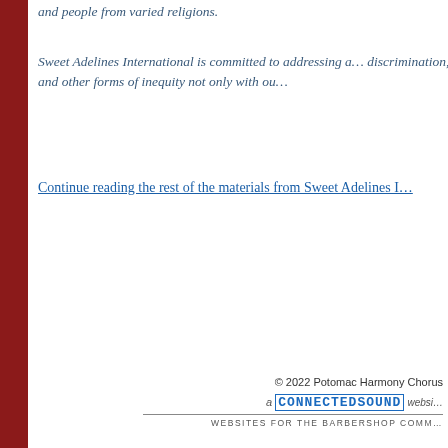and people from varied religions.
Sweet Adelines International is committed to addressing all forms of racism, discrimination, and other forms of inequity not only with ou…
Continue reading the rest of the materials from Sweet Adelines I…
© 2022 Potomac Harmony Chorus
a CONNECTEDSOUND websi…
WEBSITES FOR THE BARBERSHOP COMM…